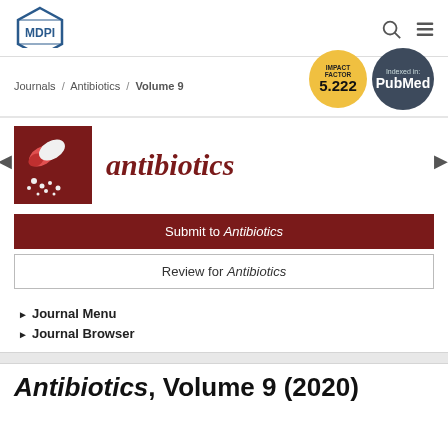[Figure (logo): MDPI hexagonal logo with text MDPI]
Journals / Antibiotics / Volume 9
[Figure (infographic): Impact Factor 5.222 gold circle badge]
[Figure (infographic): Indexed in: PubMed dark circle badge]
[Figure (photo): Antibiotics journal cover image with capsule pills on dark red background]
antibiotics
Submit to Antibiotics
Review for Antibiotics
Journal Menu
Journal Browser
Antibiotics, Volume 9 (2020)